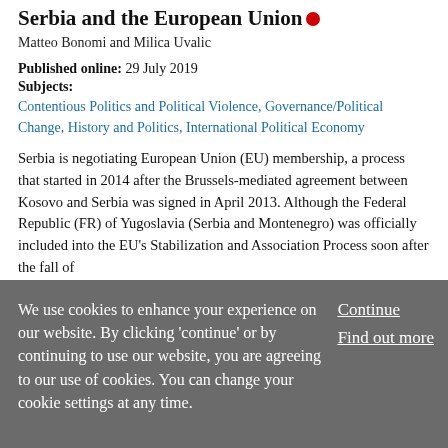Serbia and the European Union
Matteo Bonomi and Milica Uvalic
Published online: 29 July 2019
Subjects:
Contentious Politics and Political Violence, Governance/Political Change, History and Politics, International Political Economy
Serbia is negotiating European Union (EU) membership, a process that started in 2014 after the Brussels-mediated agreement between Kosovo and Serbia was signed in April 2013. Although the Federal Republic (FR) of Yugoslavia (Serbia and Montenegro) was officially included into the EU's Stabilization and Association Process soon after the fall of
We use cookies to enhance your experience on our website. By clicking 'continue' or by continuing to use our website, you are agreeing to our use of cookies. You can change your cookie settings at any time.